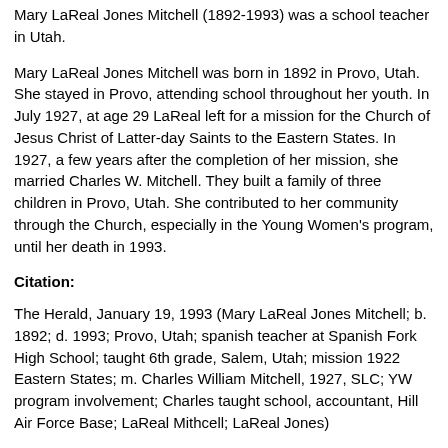Mary LaReal Jones Mitchell (1892-1993) was a school teacher in Utah.
Mary LaReal Jones Mitchell was born in 1892 in Provo, Utah. She stayed in Provo, attending school throughout her youth. In July 1927, at age 29 LaReal left for a mission for the Church of Jesus Christ of Latter-day Saints to the Eastern States. In 1927, a few years after the completion of her mission, she married Charles W. Mitchell. They built a family of three children in Provo, Utah. She contributed to her community through the Church, especially in the Young Women's program, until her death in 1993.
Citation:
The Herald, January 19, 1993 (Mary LaReal Jones Mitchell; b. 1892; d. 1993; Provo, Utah; spanish teacher at Spanish Fork High School; taught 6th grade, Salem, Utah; mission 1922 Eastern States; m. Charles William Mitchell, 1927, SLC; YW program involvement; Charles taught school, accountant, Hill Air Force Base; LaReal Mithcell; LaReal Jones)
Family Search via WWW, Oct. 4a 2012 (Charles H...